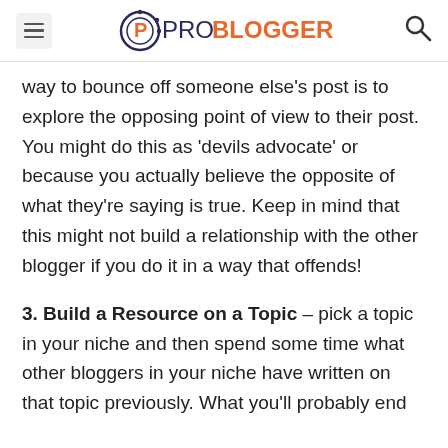ProBlogger
way to bounce off someone else’s post is to explore the opposing point of view to their post. You might do this as ‘devils advocate’ or because you actually believe the opposite of what they’re saying is true. Keep in mind that this might not build a relationship with the other blogger if you do it in a way that offends!
3. Build a Resource on a Topic – pick a topic in your niche and then spend some time what other bloggers in your niche have written on that topic previously. What you’ll probably end